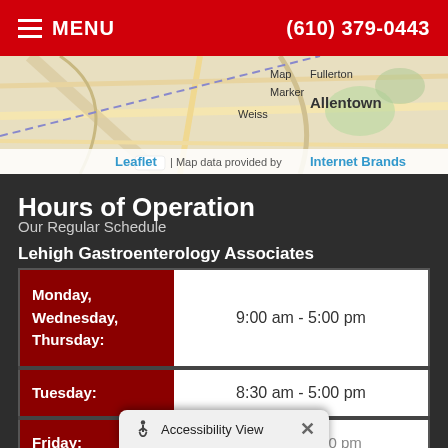MENU | (610) 379-0443
[Figure (map): Partial map showing Allentown area with Leaflet map attribution and Internet Brands data provider label]
Hours of Operation
Our Regular Schedule
Lehigh Gastroenterology Associates
| Day | Hours |
| --- | --- |
| Monday, Wednesday, Thursday: | 9:00 am - 5:00 pm |
| Tuesday: | 8:30 am - 5:00 pm |
| Friday: | 8:30 am - 4:00 pm |
Accessibility View